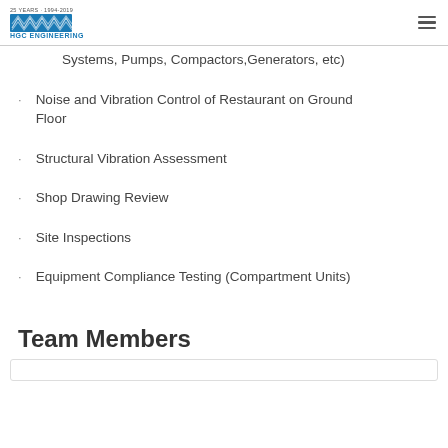25 YEARS · 1994-2019 HGC Engineering
Systems, Pumps, Compactors, Generators, etc)
Noise and Vibration Control of Restaurant on Ground Floor
Structural Vibration Assessment
Shop Drawing Review
Site Inspections
Equipment Compliance Testing (Compartment Units)
Team Members